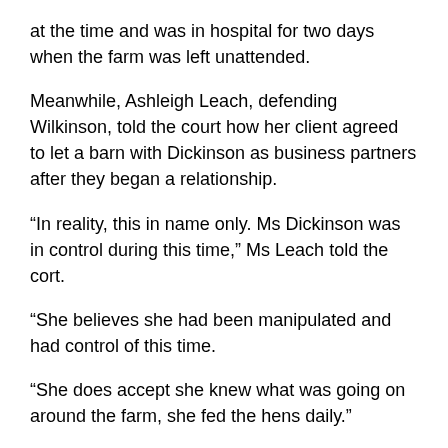at the time and was in hospital for two days when the farm was left unattended.
Meanwhile, Ashleigh Leach, defending Wilkinson, told the court how her client agreed to let a barn with Dickinson as business partners after they began a relationship.
“In reality, this in name only. Ms Dickinson was in control during this time,” Ms Leach told the cort.
“She believes she had been manipulated and had control of this time.
“She does accept she knew what was going on around the farm, she fed the hens daily.”
Ms Leach said Wilkinson became involved as she was dating Dickinson – with Ms Giddons telling the court her claims were “disputed” and that both were involved.